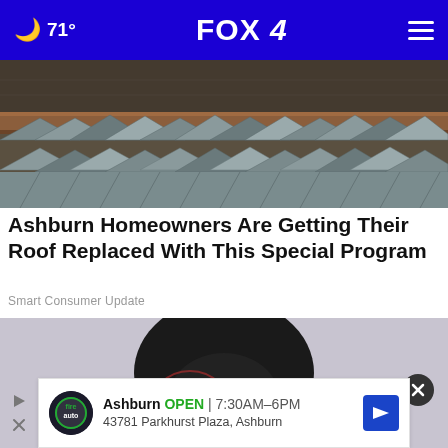🌙 71° | FOX 4
[Figure (photo): Close-up photo of old worn roof shingles/slates with a wooden beam visible]
Ashburn Homeowners Are Getting Their Roof Replaced With This Special Program
Smart Consumer Update
[Figure (photo): Person holding their knee with a red pain indicator circle, against a light background]
Ashburn  OPEN | 7:30AM–6PM  43781 Parkhurst Plaza, Ashburn